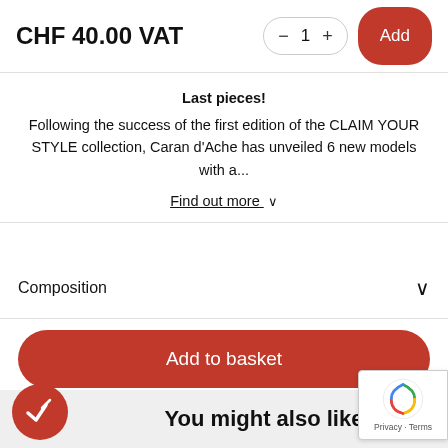CHF 40.00 VAT
Last pieces!
Following the success of the first edition of the CLAIM YOUR STYLE collection, Caran d'Ache has unveiled 6 new models with a...
Find out more ∨
Composition
Add to basket
You might also like